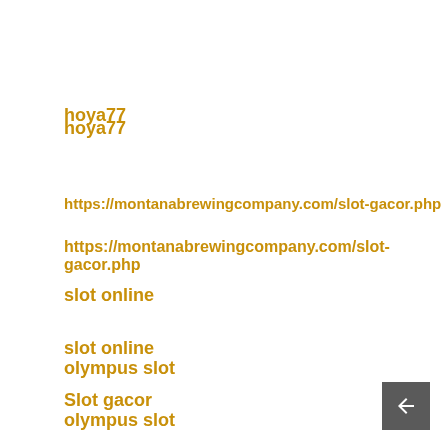hoya77
https://montanabrewingcompany.com/slot-gacor.php
slot online
olympus slot
Slot gacor